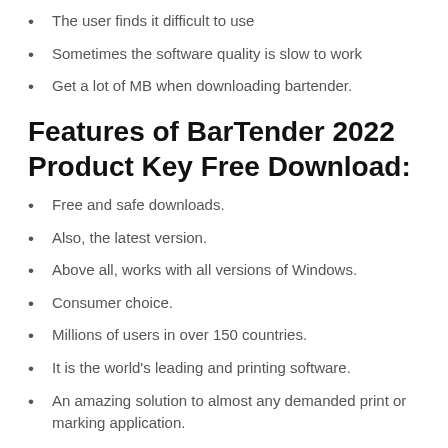The user finds it difficult to use
Sometimes the software quality is slow to work
Get a lot of MB when downloading bartender.
Features of BarTender 2022 Product Key Free Download:
Free and safe downloads.
Also, the latest version.
Above all, works with all versions of Windows.
Consumer choice.
Millions of users in over 150 countries.
It is the world's leading and printing software.
An amazing solution to almost any demanded print or marking application.
How to Crack BarTender Product